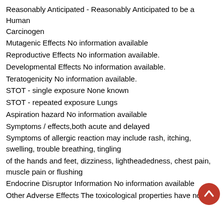Reasonably Anticipated - Reasonably Anticipated to be a Human Carcinogen
Mutagenic Effects No information available
Reproductive Effects No information available.
Developmental Effects No information available.
Teratogenicity No information available.
STOT - single exposure None known
STOT - repeated exposure Lungs
Aspiration hazard No information available
Symptoms / effects,both acute and delayed
Symptoms of allergic reaction may include rash, itching, swelling, trouble breathing, tingling
of the hands and feet, dizziness, lightheadedness, chest pain, muscle pain or flushing
Endocrine Disruptor Information No information available
Other Adverse Effects The toxicological properties have not